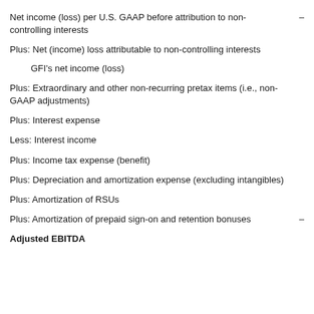Net income (loss) per U.S. GAAP before attribution to non-controlling interests
Plus: Net (income) loss attributable to non-controlling interests
GFI's net income (loss)
Plus: Extraordinary and other non-recurring pretax items (i.e., non-GAAP adjustments)
Plus: Interest expense
Less: Interest income
Plus: Income tax expense (benefit)
Plus: Depreciation and amortization expense (excluding intangibles)
Plus: Amortization of RSUs
Plus: Amortization of prepaid sign-on and retention bonuses
Adjusted EBITDA